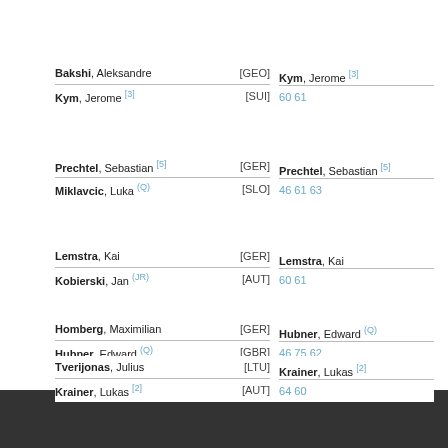Bakshi, Aleksandre [GEO] vs Kym, Jerome [3] [SUI] — Winner: Kym, Jerome [3] 60 61
Prechtel, Sebastian [5] [GER] vs Miklavcic, Luka (Q) [SLO] — Winner: Prechtel, Sebastian [5] 46 61 63
Lemstra, Kai [GER] vs Kobierski, Jan (JR) [AUT] — Winner: Lemstra, Kai 60 61
Homberg, Maximilian [GER] vs Hubner, Edward (Q) [GBR] — Winner: Hubner, Edward (Q) 46 75 62
Tverijonas, Julius [LTU] vs Krainer, Lukas [2] [AUT] — Winner: Krainer, Lukas [2] 64 60